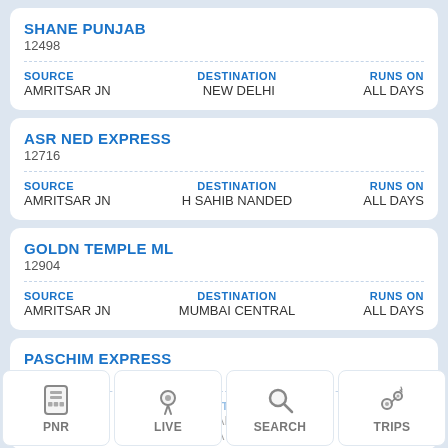SHANE PUNJAB
12498
| SOURCE | DESTINATION | RUNS ON |
| --- | --- | --- |
| AMRITSAR JN | NEW DELHI | ALL DAYS |
ASR NED EXPRESS
12716
| SOURCE | DESTINATION | RUNS ON |
| --- | --- | --- |
| AMRITSAR JN | H SAHIB NANDED | ALL DAYS |
GOLDN TEMPLE ML
12904
| SOURCE | DESTINATION | RUNS ON |
| --- | --- | --- |
| AMRITSAR JN | MUMBAI CENTRAL | ALL DAYS |
PASCHIM EXPRESS
12926
SOURCE | DESTINATION | RUNS ON
AMRITSAR JN | LOKMANYA TIL...ANDRA TERMINUS | ALL DAYS
PNR  LIVE  SEARCH  TRIPS